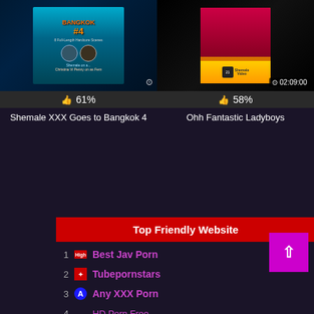[Figure (screenshot): Movie thumbnail for Shemale XXX Goes to Bangkok 4 with 61% rating]
61%
Shemale XXX Goes to Bangkok 4
[Figure (screenshot): Movie thumbnail for Ohh Fantastic Ladyboys with duration 02:09:00 and 58% rating]
58%
Ohh Fantastic Ladyboys
Top Friendly Website
1  Best Jav Porn
2  Tubepornstars
3  Any XXX Porn
4  HD Porn Free
5  Beeg Sex Tv
6  Best Porn Stars
7  Hdpornmax
8  Hdsextube
9  24 Porn Videos